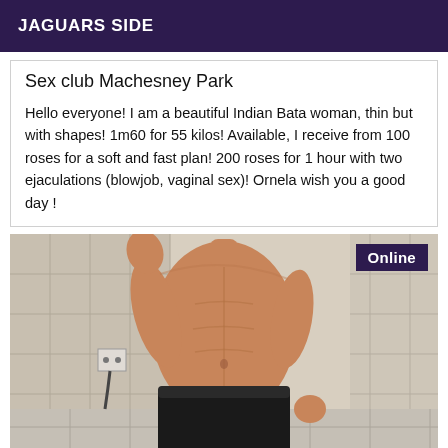JAGUARS SIDE
Sex club Machesney Park
Hello everyone! I am a beautiful Indian Bata woman, thin but with shapes! 1m60 for 55 kilos! Available, I receive from 100 roses for a soft and fast plan! 200 roses for 1 hour with two ejaculations (blowjob, vaginal sex)! Ornela wish you a good day !
[Figure (photo): Shirtless person in black underwear standing in a tiled bathroom, taking a mirror selfie. An 'Online' badge is overlaid in the top right corner.]